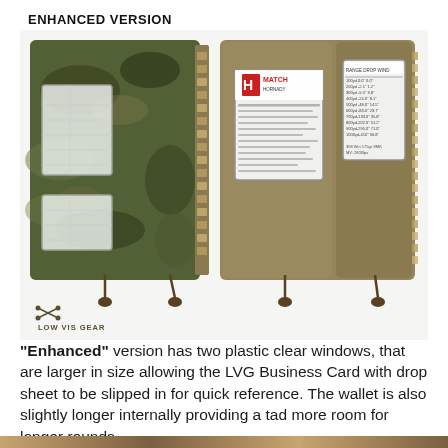ENHANCED VERSION
[Figure (photo): Photo showing two tactical ammunition wallets open side by side. Left wallet is in camouflage (multicam) pattern with two clear plastic windows and visible bullet/cartridge loops on the spine. Right wallet is in coyote/tan color with two clear plastic windows (one showing a Hornady MATCH ammunition box label) and cartridge loops on the side. Both wallets have cord pulls at the bottom. A 'LOW VIS GEAR' logo with crossed axes icon is visible on the lower left of the image.]
"Enhanced" version has two plastic clear windows, that are larger in size allowing the LVG Business Card with drop sheet to be slipped in for quick reference. The wallet is also slightly longer internally providing a tad more room for longer rounds.